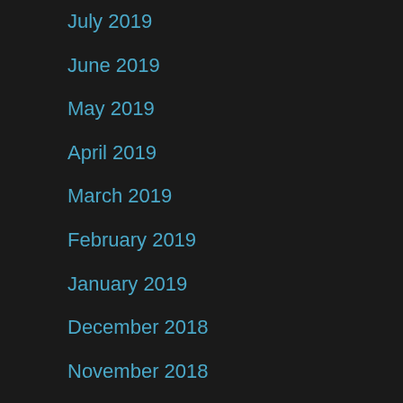July 2019
June 2019
May 2019
April 2019
March 2019
February 2019
January 2019
December 2018
November 2018
October 2018
September 2018
August 2018
July 2018
June 2018